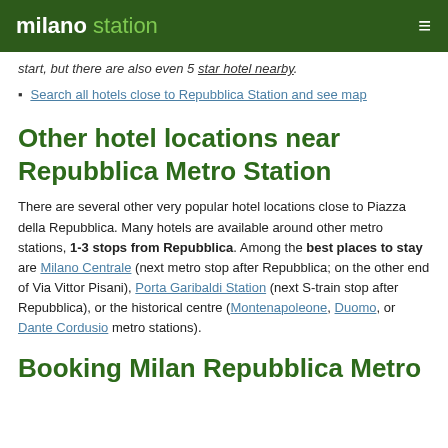milano station
start, but there are also even 5 star hotel nearby.
Search all hotels close to Repubblica Station and see map
Other hotel locations near Repubblica Metro Station
There are several other very popular hotel locations close to Piazza della Repubblica. Many hotels are available around other metro stations, 1-3 stops from Repubblica. Among the best places to stay are Milano Centrale (next metro stop after Repubblica; on the other end of Via Vittor Pisani), Porta Garibaldi Station (next S-train stop after Repubblica), or the historical centre (Montenapoleone, Duomo, or Dante Cordusio metro stations).
Booking Milan Repubblica Metro